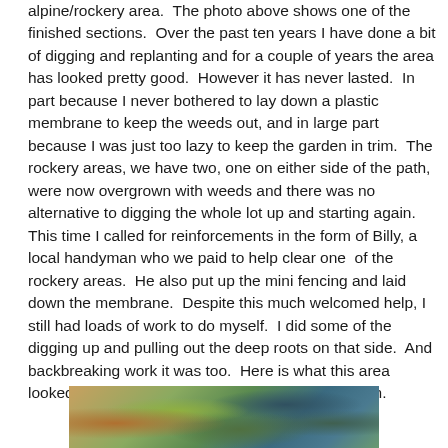alpine/rockery area.  The photo above shows one of the finished sections.  Over the past ten years I have done a bit of digging and replanting and for a couple of years the area has looked pretty good.  However it has never lasted.  In part because I never bothered to lay down a plastic membrane to keep the weeds out, and in large part because I was just too lazy to keep the garden in trim.  The rockery areas, we have two, one on either side of the path, were now overgrown with weeds and there was no alternative to digging the whole lot up and starting again.  This time I called for reinforcements in the form of Billy, a local handyman who we paid to help clear one  of the rockery areas.  He also put up the mini fencing and laid down the membrane.  Despite this much welcomed help, I still had loads of work to do myself.  I did some of the digging up and pulling out the deep roots on that side.  And backbreaking work it was too.  Here is what this area looked like cleared of weeds and the mini fencing in.
[Figure (photo): Partially visible photo at bottom of page showing a garden rockery area with colorful plants and mini fencing]